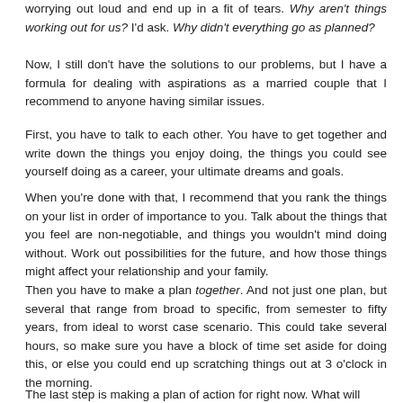worrying out loud and end up in a fit of tears. Why aren't things working out for us? I'd ask. Why didn't everything go as planned?
Now, I still don't have the solutions to our problems, but I have a formula for dealing with aspirations as a married couple that I recommend to anyone having similar issues.
First, you have to talk to each other. You have to get together and write down the things you enjoy doing, the things you could see yourself doing as a career, your ultimate dreams and goals.
When you're done with that, I recommend that you rank the things on your list in order of importance to you. Talk about the things that you feel are non-negotiable, and things you wouldn't mind doing without. Work out possibilities for the future, and how those things might affect your relationship and your family.
Then you have to make a plan together. And not just one plan, but several that range from broad to specific, from semester to fifty years, from ideal to worst case scenario. This could take several hours, so make sure you have a block of time set aside for doing this, or else you could end up scratching things out at 3 o'clock in the morning.
The last step is making a plan of action for right now. What will...